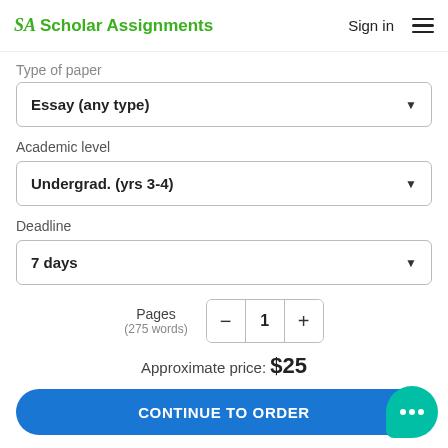[Figure (logo): Scholar Assignments logo with green SA icon and green text]
Sign in
Type of paper
Essay (any type)
Academic level
Undergrad. (yrs 3-4)
Deadline
7 days
Pages
(275 words)
Approximate price: $25
CONTINUE TO ORDER